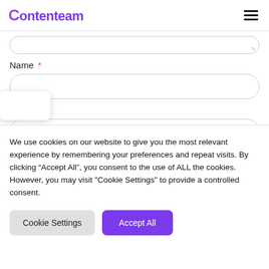Contenteam
Name *
Email *
Website
We use cookies on our website to give you the most relevant experience by remembering your preferences and repeat visits. By clicking “Accept All”, you consent to the use of ALL the cookies. However, you may visit "Cookie Settings" to provide a controlled consent.
Cookie Settings
Accept All